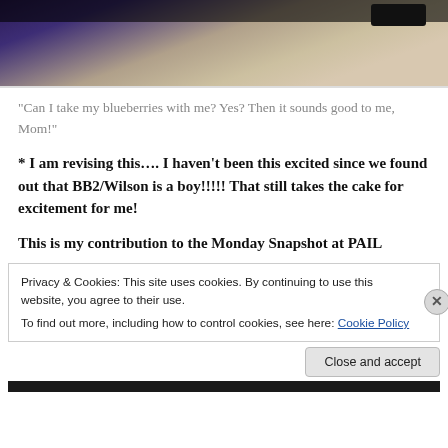[Figure (photo): Top portion of a photo showing dark background, fabric/bedding, and what appears to be a dark electronic device (phone/remote)]
"Can I take my blueberries with me? Yes? Then it sounds good to me, Mom!"
* I am revising this…. I haven't been this excited since we found out that BB2/Wilson is a boy!!!!! That still takes the cake for excitement for me!
This is my contribution to the Monday Snapshot at PAIL
Privacy & Cookies: This site uses cookies. By continuing to use this website, you agree to their use.
To find out more, including how to control cookies, see here: Cookie Policy